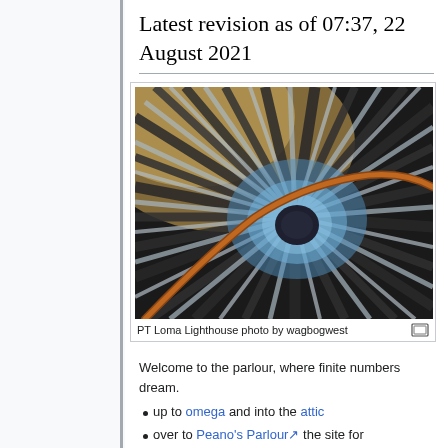Latest revision as of 07:37, 22 August 2021
[Figure (photo): Spiral staircase viewed from above, PT Loma Lighthouse photo by wagbogwest]
PT Loma Lighthouse photo by wagbogwest
Welcome to the parlour, where finite numbers dream.
up to omega and into the attic
over to Peano's Parlour, the site for